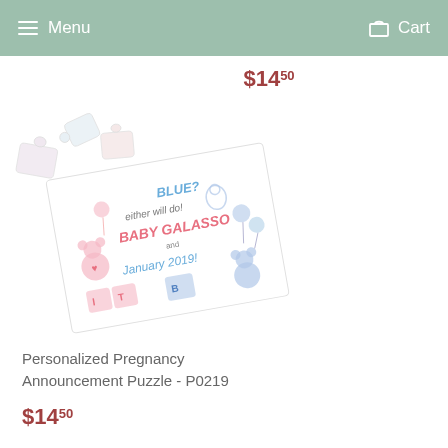Menu  Cart
$14.50
[Figure (photo): A personalized pregnancy announcement puzzle shown at an angle, featuring pink and blue baby-themed graphics (teddy bears, balloons, letter blocks), text reading 'BLUE? either will do! BABY GALASSO and January 2019', with puzzle pieces scattered nearby.]
Personalized Pregnancy Announcement Puzzle - P0219
$14.50